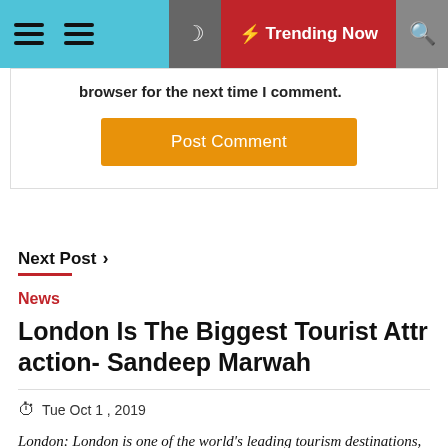Trending Now
browser for the next time I comment.
Post Comment
Next Post >
News
London Is The Biggest Tourist Attraction- Sandeep Marwah
Tue Oct 1, 2019
London: London is one of the world's leading tourism destinations, and the city is home to an array of famous tourist attractions. The city attracted 20.42 million